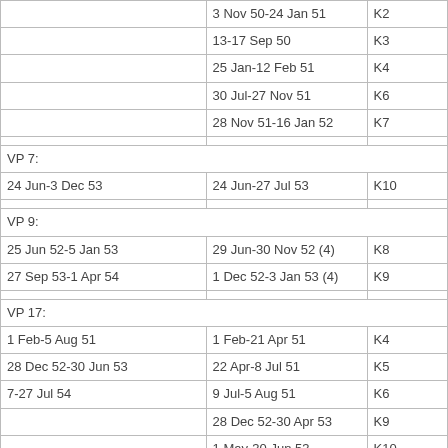| Column1 | Column2 | Column3 |
| --- | --- | --- |
|  | 3 Nov 50-24 Jan 51 | K2 |
|  | 13-17 Sep 50 | K3 |
|  | 25 Jan-12 Feb 51 | K4 |
|  | 30 Jul-27 Nov 51 | K6 |
|  | 28 Nov 51-16 Jan 52 | K7 |
|  |  |  |
| VP 7: |  |  |
| 24 Jun-3 Dec 53 | 24 Jun-27 Jul 53 | K10 |
|  |  |  |
| VP 9: |  |  |
| 25 Jun 52-5 Jan 53 | 29 Jun-30 Nov 52 (4) | K8 |
| 27 Sep 53-1 Apr 54 | 1 Dec 52-3 Jan 53 (4) | K9 |
|  |  |  |
| VP 17: |  |  |
| 1 Feb-5 Aug 51 | 1 Feb-21 Apr 51 | K4 |
| 28 Dec 52-30 Jun 53 | 22 Apr-8 Jul 51 | K5 |
| 7-27 Jul 54 | 9 Jul-5 Aug 51 | K6 |
|  | 28 Dec 52-30 Apr 53 | K9 |
|  | 1 May-30 Jun 53 | K10 |
|  |  |  |